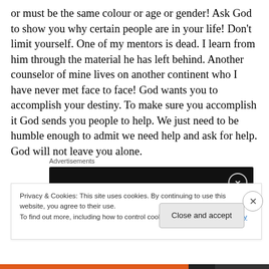or must be the same colour or age or gender! Ask God to show you why certain people are in your life! Don't limit yourself. One of my mentors is dead. I learn from him through the material he has left behind. Another counselor of mine lives on another continent who I have never met face to face! God wants you to accomplish your destiny. To make sure you accomplish it God sends you people to help. We just need to be humble enough to admit we need help and ask for help. God will not leave you alone.
Advertisements
[Figure (other): Dark advertisement banner with a circular close/info button on the right]
Privacy & Cookies: This site uses cookies. By continuing to use this website, you agree to their use.
To find out more, including how to control cookies, see here: Cookie Policy
Close and accept